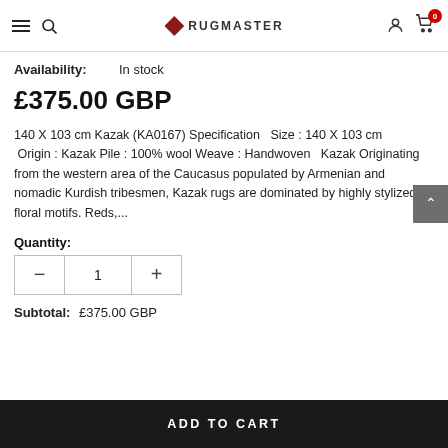RUGMASTER — navigation header with hamburger, search, logo, account, cart (0)
Availability:  In stock
£375.00 GBP
140 X 103 cm Kazak (KA0167) Specification   Size : 140 X 103 cm  Origin : Kazak Pile : 100% wool Weave : Handwoven   Kazak Originating from the western area of the Caucasus populated by Armenian and nomadic Kurdish tribesmen, Kazak rugs are dominated by highly stylized floral motifs. Reds,...
Quantity:
Subtotal:  £375.00 GBP
ADD TO CART